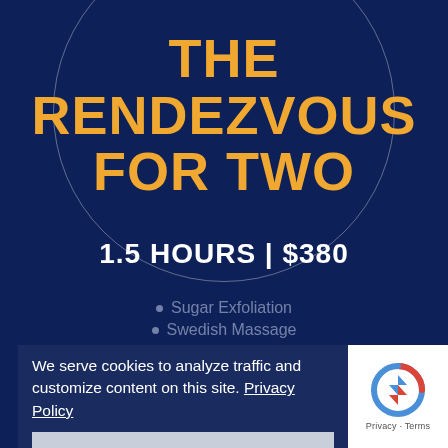THE RENDEZVOUS FOR TWO
1.5 HOURS | $380
Sugar Exfoliation
Swedish Massage
Champagne
Chocolate-Covered Strawberries
We serve cookies to analyze traffic and customize content on this site. Privacy Policy
Got it!
SIGN UP